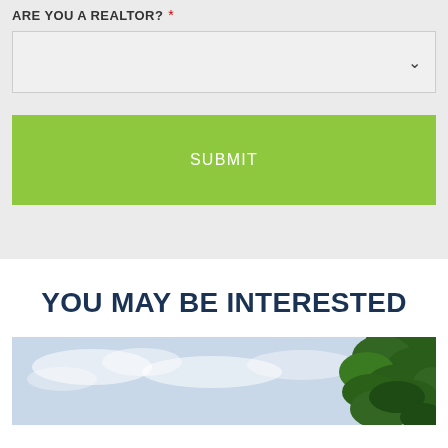ARE YOU A REALTOR? *
SUBMIT
YOU MAY BE INTERESTED
[Figure (photo): Outdoor scene with sky and tree foliage visible at bottom of page]